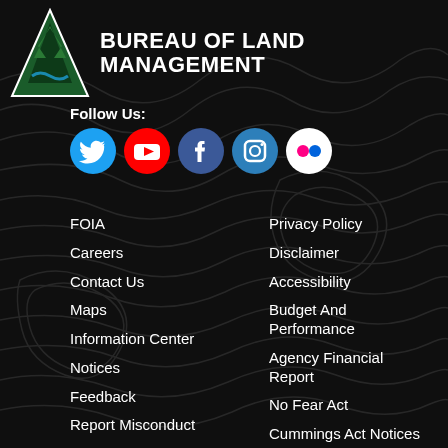[Figure (logo): Bureau of Land Management triangle logo with tree/mountain imagery]
BUREAU OF LAND MANAGEMENT
Follow Us:
[Figure (infographic): Row of social media icons: Twitter (blue), YouTube (red), Facebook (dark blue), Instagram (blue), Flickr (white/pink dots)]
FOIA
Careers
Contact Us
Maps
Information Center
Notices
Feedback
Report Misconduct
Office Of Civil Rights
USA.Gov
White House
Privacy Policy
Disclaimer
Accessibility
Budget And Performance
Agency Financial Report
No Fear Act
Cummings Act Notices